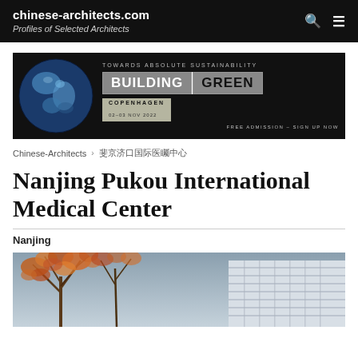chinese-architects.com — Profiles of Selected Architects
[Figure (illustration): Building Green Copenhagen advertisement banner — 'Towards Absolute Sustainability, Building Green, Copenhagen, 02-03 Nov 2022, Free Admission – Sign Up Now']
Chinese-Architects > 南京浦口国际医疗中心
Nanjing Pukou International Medical Center
Nanjing
[Figure (photo): Exterior photo of Nanjing Pukou International Medical Center — autumn trees in foreground against grey sky with modern building facade visible]